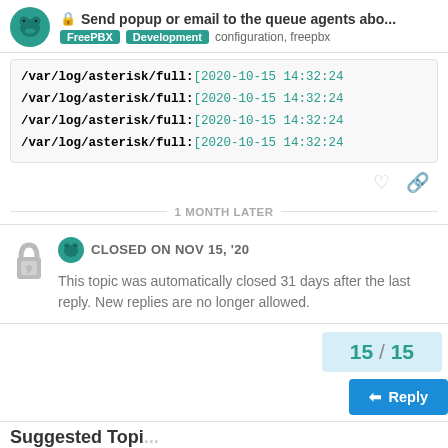Send popup or email to the queue agents abo... | FreePBX | Development | configuration, freepbx
/var/log/asterisk/full:[2020-10-15 14:32:24
/var/log/asterisk/full:[2020-10-15 14:32:24
/var/log/asterisk/full:[2020-10-15 14:32:24
/var/log/asterisk/full:[2020-10-15 14:32:24
1 MONTH LATER
CLOSED ON NOV 15, '20
This topic was automatically closed 31 days after the last reply. New replies are no longer allowed.
15 / 15
Reply
Suggested Topi...